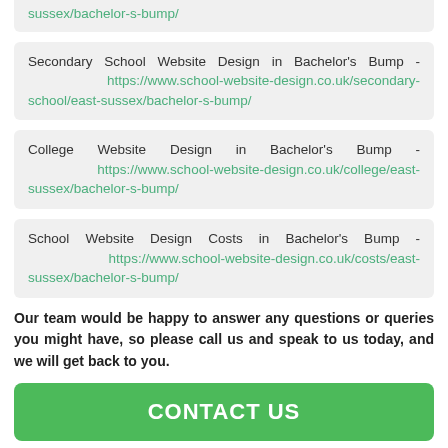Secondary School Website Design in Bachelor's Bump - https://www.school-website-design.co.uk/secondary-school/east-sussex/bachelor-s-bump/
College Website Design in Bachelor's Bump - https://www.school-website-design.co.uk/college/east-sussex/bachelor-s-bump/
School Website Design Costs in Bachelor's Bump - https://www.school-website-design.co.uk/costs/east-sussex/bachelor-s-bump/
Our team would be happy to answer any questions or queries you might have, so please call us and speak to us today, and we will get back to you.
CONTACT US